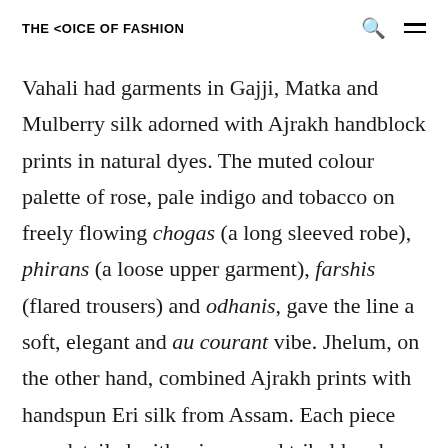THE <OICE OF FASHION
Vahali had garments in Gajji, Matka and Mulberry silk adorned with Ajrakh handblock prints in natural dyes. The muted colour palette of rose, pale indigo and tobacco on freely flowing chogas (a long sleeved robe), phirans (a loose upper garment), farshis (flared trousers) and odhanis, gave the line a soft, elegant and au courant vibe. Jhelum, on the other hand, combined Ajrakh prints with handspun Eri silk from Assam. Each piece was detailed with mirrors and tribal hand embroidery. The colour